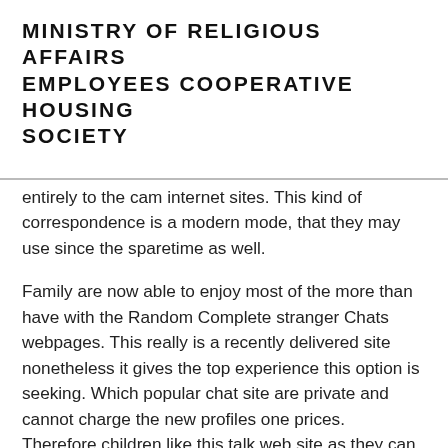MINISTRY OF RELIGIOUS AFFAIRS EMPLOYEES COOPERATIVE HOUSING SOCIETY
entirely to the cam internet sites. This kind of correspondence is a modern mode, that they may use since the sparetime as well.
Family are now able to enjoy most of the more than have with the Random Complete stranger Chats webpages. This really is a recently delivered site nonetheless it gives the top experience this option is seeking. Which popular chat site are private and cannot charge the new profiles one prices. Therefore children like this talk web site as they can make use of it for free. It cam web site even offers several chat rooms for teenagers to talk having. These various other chatrooms is actually assigned to all types of chats. Discover a chat area to own despair, loneliness, personal